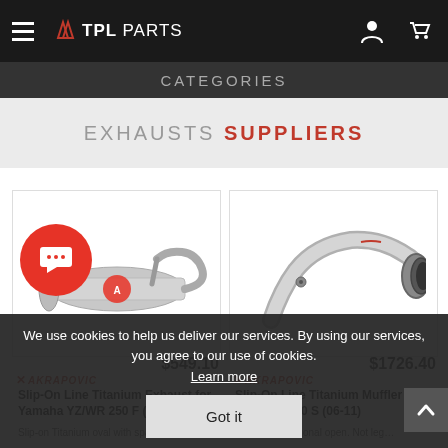TPL PARTS
Categories
EXHAUSTS SUPPLIERS
[Figure (photo): Slip-On Line Titanium Exhaust for Yamaha YZ/WR 250 F (06-14) product photo showing silver titanium exhaust muffler with Akrapovic branding]
$549.10
Slip-On Line Titanium Exhaust for Yamaha YZ/WR 250 F (06-14)
Slip-on Titanium oval with spark arreste...
[Figure (photo): Slip-On Line Titanium Muffler for BMW R 1200 S (06-11) product photo showing curved metallic exhaust pipe assembly with Akrapovic branding]
$1726.40
Slip-On Line Titanium Muffler for BMW R 1200 S (06-11)
Titanium hexagonal open. Not leg...
We use cookies to help us deliver our services. By using our services, you agree to our use of cookies. Learn more
Got it